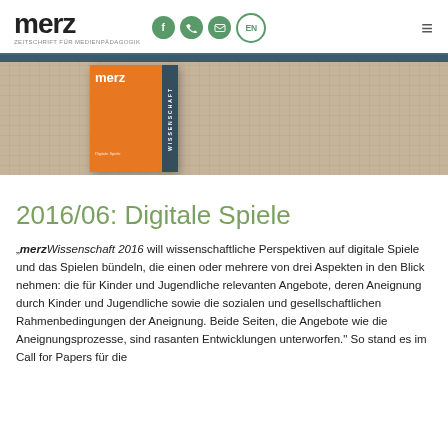merz — ZEITSCHRIFT FÜR MEDIENPÄDAGOGIK
[Figure (screenshot): Merz magazine cover with orange cover showing 'merz' title and 'WISSENSCHAFT' vertical strip, displayed against a beige textured banner background]
2016/06: Digitale Spiele
„merzWissenschaft 2016 will wissenschaftliche Perspektiven auf digitale Spiele und das Spielen bündeln, die einen oder mehrere von drei Aspekten in den Blick nehmen: die für Kinder und Jugendliche relevanten Angebote, deren Aneignung durch Kinder und Jugendliche sowie die sozialen und gesellschaftlichen Rahmenbedingungen der Aneignung. Beide Seiten, die Angebote wie die Aneignungsprozesse, sind rasanten Entwicklungen unterworfen." So stand es im Call for Papers für die